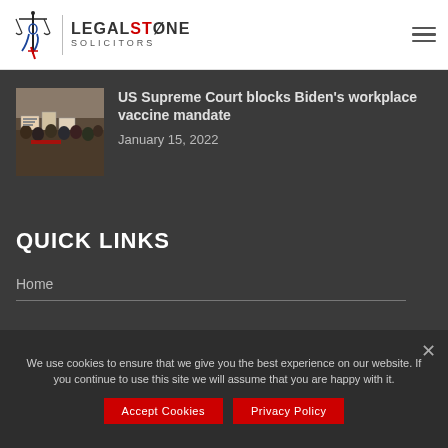[Figure (logo): Legalstone Solicitors logo with scales of justice icon and text]
[Figure (photo): Protest crowd holding signs related to vaccine mandates]
US Supreme Court blocks Biden's workplace vaccine mandate
January 15, 2022
QUICK LINKS
Home
We use cookies to ensure that we give you the best experience on our website. If you continue to use this site we will assume that you are happy with it.